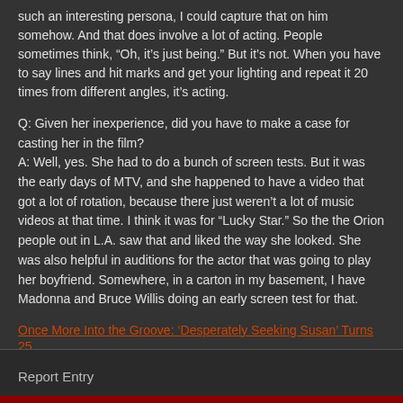such an interesting persona, I could capture that on him somehow. And that does involve a lot of acting. People sometimes think, “Oh, it’s just being.” But it’s not. When you have to say lines and hit marks and get your lighting and repeat it 20 times from different angles, it’s acting.
Q: Given her inexperience, did you have to make a case for casting her in the film?
A: Well, yes. She had to do a bunch of screen tests. But it was the early days of MTV, and she happened to have a video that got a lot of rotation, because there just weren’t a lot of music videos at that time. I think it was for “Lucky Star.” So the the Orion people out in L.A. saw that and liked the way she looked. She was also helpful in auditions for the actor that was going to play her boyfriend. Somewhere, in a carton in my basement, I have Madonna and Bruce Willis doing an early screen test for that.
Once More Into the Groove: ‘Desperately Seeking Susan’ Turns 25
Report Entry